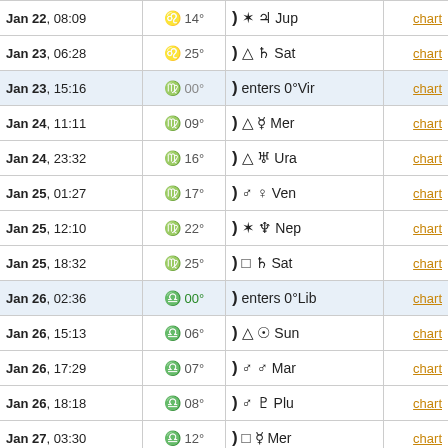| Date | Degree | Aspect | Chart |
| --- | --- | --- | --- |
| Jan 22, 08:09 | ♌ 14° | ☽ ✶ ♃ Jup | chart |
| Jan 23, 06:28 | ♌ 25° | ☽ △ ♄ Sat | chart |
| Jan 23, 15:16 | ♍ 00° | ☽ enters 0°Vir | chart |
| Jan 24, 11:11 | ♍ 09° | ☽ △ ☿ Mer | chart |
| Jan 24, 23:32 | ♍ 16° | ☽ △ ♅ Ura | chart |
| Jan 25, 01:27 | ♍ 17° | ☽ ♂ ♀ Ven | chart |
| Jan 25, 12:10 | ♍ 22° | ☽ ✶ ♆ Nep | chart |
| Jan 25, 18:32 | ♍ 25° | ☽ □ ♄ Sat | chart |
| Jan 26, 02:36 | ♎ 00° | ☽ enters 0°Lib | chart |
| Jan 26, 15:13 | ♎ 06° | ☽ △ ☉ Sun | chart |
| Jan 26, 17:29 | ♎ 07° | ☽ ♂ ♂ Mar | chart |
| Jan 26, 18:18 | ♎ 08° | ☽ ♂ ♇ Plu | chart |
| Jan 27, 03:30 | ♎ 12° | ☽ □ ☿ Mer | chart |
| Jan 27, 06:43 | ♎ 14° | ☽ ♂ ♃ Jup | chart |